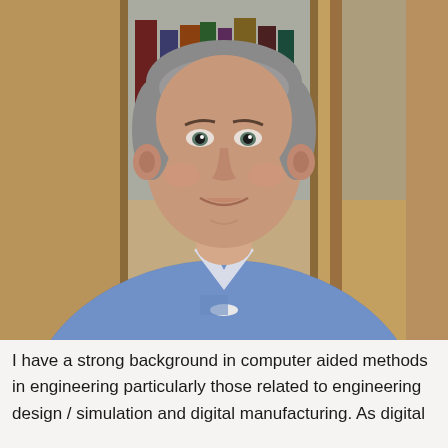[Figure (photo): Headshot of a middle-aged man with short grey hair wearing a blue checked shirt, sitting in front of a wooden bookcase with books. He is smiling slightly at the camera.]
I have a strong background in computer aided methods in engineering particularly those related to engineering design / simulation and digital manufacturing. As digital